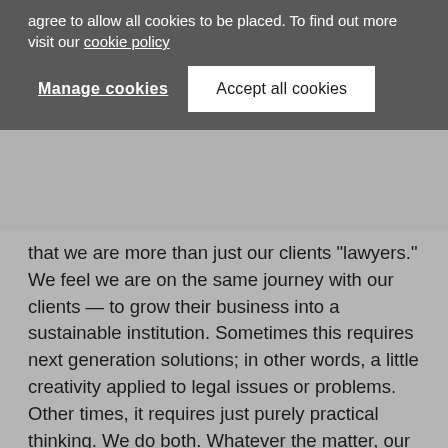agree to allow all cookies to be placed. To find out more visit our cookie policy
Manage cookies   Accept all cookies
that we are more than just our clients "lawyers." We feel we are on the same journey with our clients — to grow their business into a sustainable institution. Sometimes this requires next generation solutions; in other words, a little creativity applied to legal issues or problems. Other times, it requires just purely practical thinking. We do both. Whatever the matter, our advice and counsel are tailored to our clients, which can only come from a strong partnership and deep understanding of their business and objectives.
Our team of lawyers can provide a wide